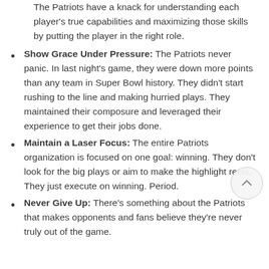The Patriots have a knack for understanding each player's true capabilities and maximizing those skills by putting the player in the right role.
Show Grace Under Pressure: The Patriots never panic. In last night's game, they were down more points than any team in Super Bowl history. They didn't start rushing to the line and making hurried plays. They maintained their composure and leveraged their experience to get their jobs done.
Maintain a Laser Focus: The entire Patriots organization is focused on one goal: winning. They don't look for the big plays or aim to make the highlight reels. They just execute on winning. Period.
Never Give Up: There's something about the Patriots that makes opponents and fans believe they're never truly out of the game.